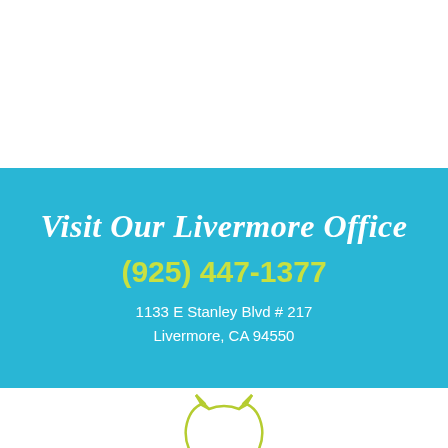Visit Our Livermore Office
(925) 447-1377
1133 E Stanley Blvd # 217
Livermore, CA 94550
[Figure (illustration): Outline illustration of a cat face/head in lime green, partially visible at bottom of page]